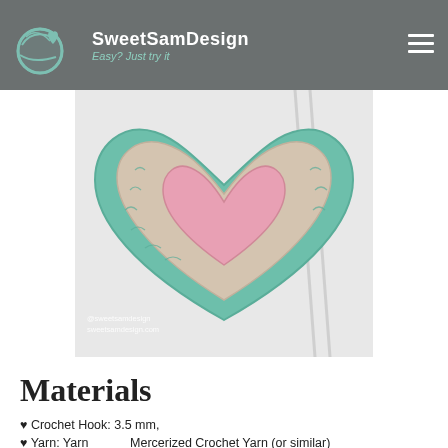SweetSamDesign — Easy? Just try it
[Figure (photo): A crocheted heart-shaped piece with mint green border, beige body, and pink center heart design, lying on a white surface with crochet hooks visible in background. Watermark text: @sweetsamdesign sweetsamdesign.com]
Materials
♥ Crochet Hook: 3.5 mm,
♥ Yarn: Yarn _____ Mercerized Crochet Yarn (or similar)